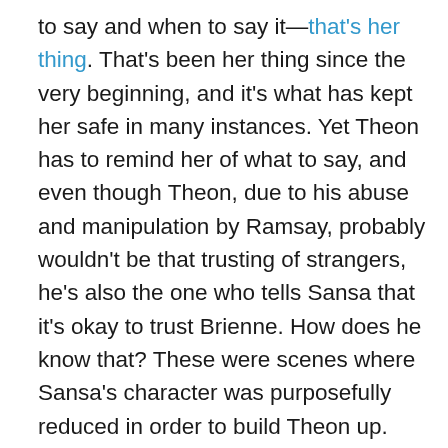to say and when to say it—that's her thing. That's been her thing since the very beginning, and it's what has kept her safe in many instances. Yet Theon has to remind her of what to say, and even though Theon, due to his abuse and manipulation by Ramsay, probably wouldn't be that trusting of strangers, he's also the one who tells Sansa that it's okay to trust Brienne. How does he know that? These were scenes where Sansa's character was purposefully reduced in order to build Theon up. This isn't even touching on Daenerys's scenes, who's spent this season attempting to avoid rape by a Dothraki hoard while being whipped. And of course, Tyrion's in charge of Meereen in her absence. I assume this is because he's a white male, because literally any other character would be better fit to rule than him. But then we couldn't have him enforce toxic masculinity by making jokes about Varys's